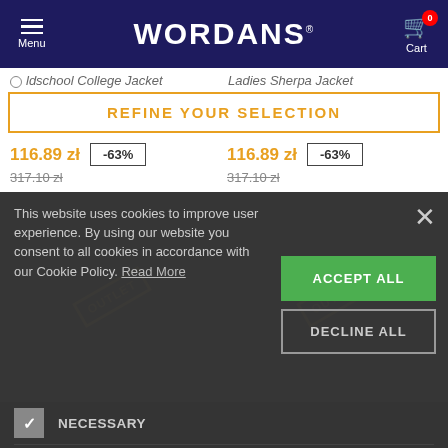WORDANS — Menu | Cart (0)
Oldschool College Jacket    Ladies Sherpa Jacket
REFINE YOUR SELECTION
116.89 zł  -63%  116.89 zł  -63%
317.10 zł  317.10 zł
This website uses cookies to improve user experience. By using our website you consent to all cookies in accordance with our Cookie Policy. Read More
ACCEPT ALL
DECLINE ALL
NECESSARY
PERFORMANCE
ADVERTISING
FUNCTIONALITY